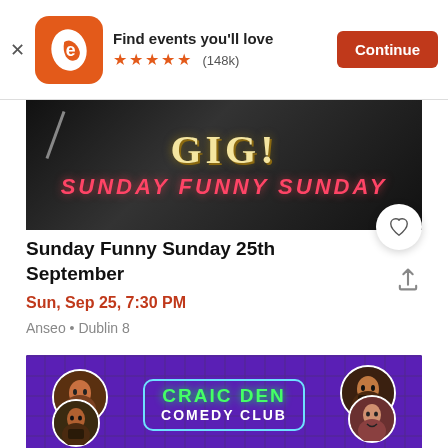[Figure (screenshot): Eventbrite app banner with logo, tagline 'Find events you'll love', 5-star rating (148k reviews), and Continue button]
[Figure (photo): Event banner image showing 'GIG! Sunday Funny Sunday' text on dark background with microphone]
Sunday Funny Sunday 25th September
Sun, Sep 25, 7:30 PM
Anseo • Dublin 8
[Figure (photo): Craic Den Comedy Club promotional banner with performer headshots on purple brick background]